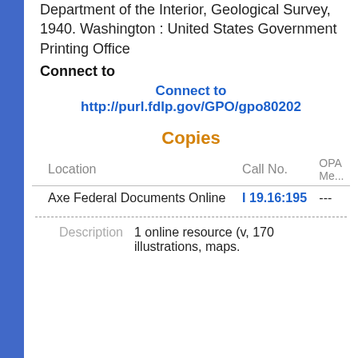Department of the Interior, Geological Survey, 1940. Washington : United States Government Printing Office
Connect to
Connect to http://purl.fdlp.gov/GPO/gpo80202
Copies
| Location | Call No. | OPA Me... |
| --- | --- | --- |
| Axe Federal Documents Online | I 19.16:195 | --- |
Description   1 online resource (v, 170 illustrations, maps.